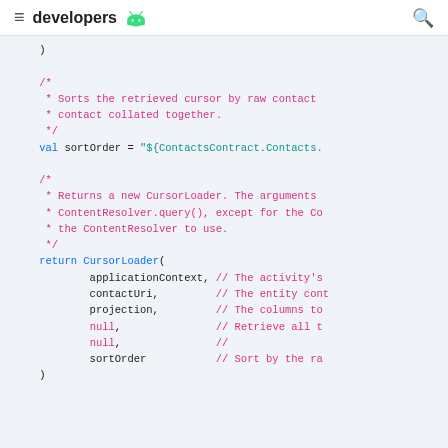≡  developers 🤖  🔍
Code snippet showing Kotlin/Android CursorLoader usage with sortOrder and return statement